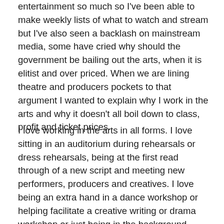entertainment so much so I've been able to make weekly lists of what to watch and stream but I've also seen a backlash on mainstream media, some have cried why should the government be bailing out the arts, when it is elitist and over priced. When we are lining theatre and producers pockets to that argument I wanted to explain why I work in the arts and why it doesn't all boil down to class, profit and ticket prices.
I love working in the arts in all forms. I love sitting in an auditorium during rehearsals or dress rehearsals, being at the first read through of a new script and meeting new performers, producers and creatives. I love being an extra hand in a dance workshop or helping facilitate a creative writing or drama workshop or just being in the background taking pictures.